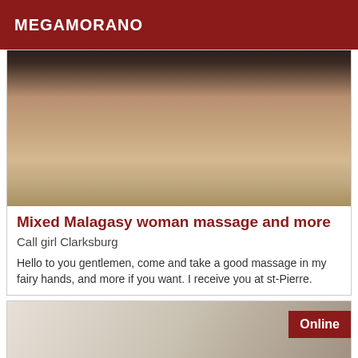MEGAMORANO
[Figure (photo): Photo of a person on a tiled floor, cropped view from above]
Mixed Malagasy woman massage and more
Call girl Clarksburg
Hello to you gentlemen, come and take a good massage in my fairy hands, and more if you want. I receive you at st-Pierre.
[Figure (photo): Partial photo of a person with blonde/light hair, with an Online badge overlay]